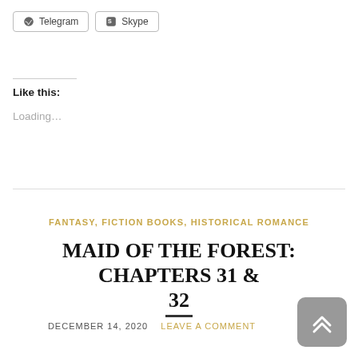[Figure (other): Two share buttons: Telegram and Skype]
Like this:
Loading...
FANTASY, FICTION BOOKS, HISTORICAL ROMANCE
MAID OF THE FOREST: CHAPTERS 31 & 32
DECEMBER 14, 2020   LEAVE A COMMENT